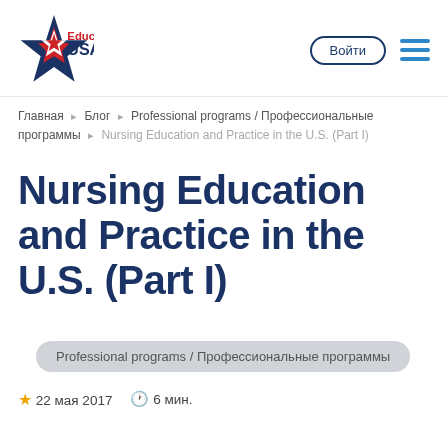[Figure (logo): Education USA logo with star and torch icon, red and navy blue]
Войти
Главная ▸ Блог ▸ Professional programs / Профессиональные программы ▸ Nursing Education and Practice in the U.S. (Part I)
Nursing Education and Practice in the U.S. (Part I)
Professional programs / Профессиональные программы
★ 22 мая 2017  🕐 6 мин.